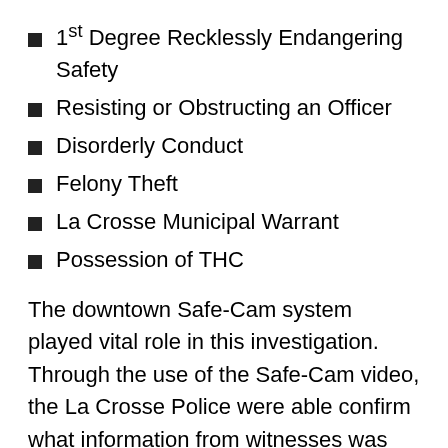1st Degree Recklessly Endangering Safety
Resisting or Obstructing an Officer
Disorderly Conduct
Felony Theft
La Crosse Municipal Warrant
Possession of THC
The downtown Safe-Cam system played vital role in this investigation. Through the use of the Safe-Cam video, the La Crosse Police were able confirm what information from witnesses was accurate and credible.  The video provided police with very specific details of the suspected shooter and ultimately the confidence that they were arresting the right person when they located Isaiah Stenson. Additionally, having multiple camera views provided clarity of who was involved in the incident and the vehicle that